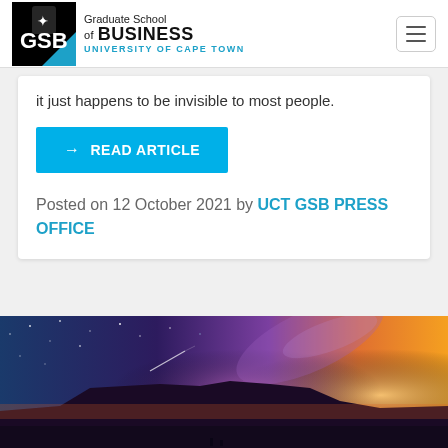Graduate School of BUSINESS UNIVERSITY OF CAPE TOWN
it just happens to be invisible to most people.
→ READ ARTICLE
Posted on 12 October 2021 by UCT GSB PRESS OFFICE
[Figure (photo): Night sky with Milky Way and silhouette of Table Mountain, Cape Town, with colorful sunset/purple hues over the ocean]